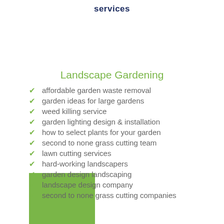services
Landscape Gardening
affordable garden waste removal
garden ideas for large gardens
weed killing service
garden lighting design & installation
how to select plants for your garden
second to none grass cutting team
lawn cutting services
hard-working landscapers
garden design landscaping
landscape design company
second to none grass cutting companies